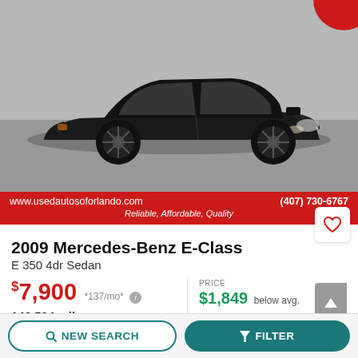[Figure (photo): Black 2009 Mercedes-Benz E-Class sedan photographed from a slightly elevated angle in a parking lot. The car is black with dark alloy wheels.]
www.usedautosoforlando.com   (407) 730-6767
Reliable, Affordable, Quality
2009 Mercedes-Benz E-Class
E 350 4dr Sedan
$7,900  *137/mo*  143,594 miles
PRICE
$1,849 below avg.
MILEAGE
NEW SEARCH   FILTER